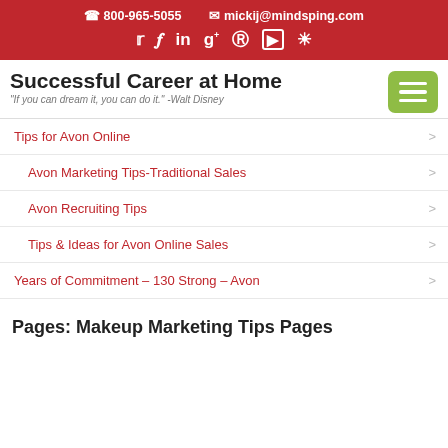800-965-5055  mickij@mindsping.com
Successful Career at Home
"If you can dream it, you can do it." -Walt Disney
Tips for Avon Online
Avon Marketing Tips-Traditional Sales
Avon Recruiting Tips
Tips & Ideas for Avon Online Sales
Years of Commitment – 130 Strong – Avon
Pages: Makeup Marketing Tips Pages